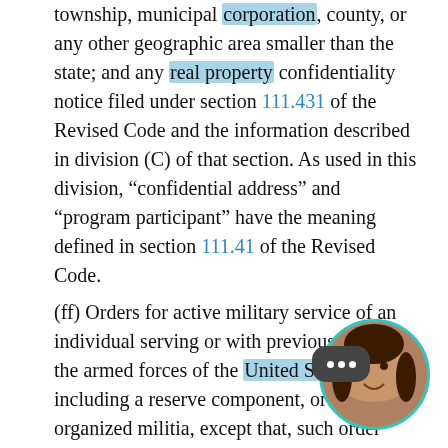township, municipal corporation, county, or any other geographic area smaller than the state; and any real property confidentiality notice filed under section 111.431 of the Revised Code and the information described in division (C) of that section. As used in this division, “confidential address” and “program participant” have the meaning defined in section 111.41 of the Revised Code.
(ff) Orders for active military service of an individual serving or with previous service in the armed forces of the United States, including a reserve component, or the Ohio organized militia, except that, such order becomes a public record on the day that is fifteen days after the published date or effective date of the order;